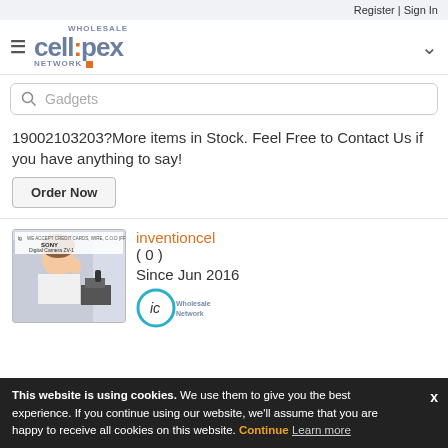Register | Sign In
[Figure (logo): Cellipex Wholesale Network logo with hamburger menu and chevron]
[Figure (screenshot): Search bar with 'Gadgets' placeholder text]
19002103203?More items in Stock. Feel Free to Contact Us if you have anything to say!
Order Now
[Figure (photo): Sony Digital Camera ZV-1 product listing image showing woman with camera]
inventioncel ( 0 ) Since Jun 2016
This website is using cookies. We use them to give you the best experience. If you continue using our website, we'll assume that you are happy to receive all cookies on this website. Continue Learn more